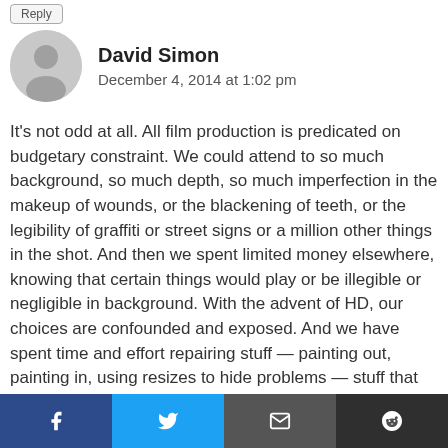Reply
David Simon
December 4, 2014 at 1:02 pm
[Figure (illustration): Grey circular avatar placeholder with silhouette of a person]
It’s not odd at all. All film production is predicated on budgetary constraint. We could attend to so much background, so much depth, so much imperfection in the makeup of wounds, or the blackening of teeth, or the legibility of graffiti or street signs or a million other things in the shot. And then we spent limited money elsewhere, knowing that certain things would play or be illegible or negligible in background. With the advent of HD, our choices are confounded and exposed. And we have spent time and effort repairing stuff — painting out, painting in, using resizes to hide problems — stuff that would not need to be changed in SD.
Why are we doing this? Because viewers like HD on their big screens. They want more depth. Same reason that
Facebook | Twitter | Email | Reddit